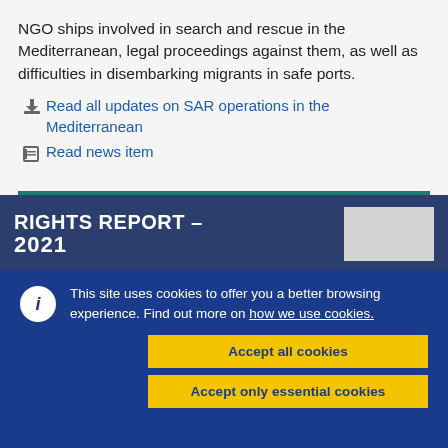NGO ships involved in search and rescue in the Mediterranean, legal proceedings against them, as well as difficulties in disembarking migrants in safe ports.
Read all updates on SAR operations in the Mediterranean
Read news item
RIGHTS REPORT – 2021
This site uses cookies to offer you a better browsing experience. Find out more on how we use cookies.
Accept all cookies
Accept only essential cookies